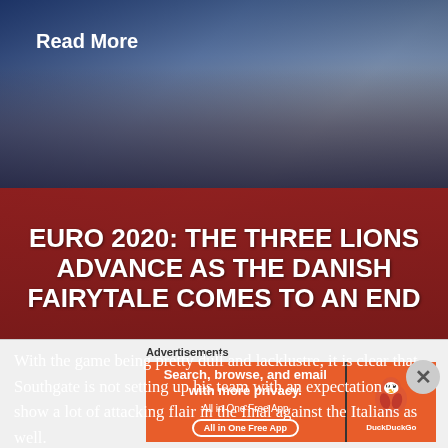Read More
[Figure (photo): Sports photo showing people in dark suits and athletic wear on a court or field, with blue background]
EURO 2020: THE THREE LIONS ADVANCE AS THE DANISH FAIRYTALE COMES TO AN END
With the game being pretty dull and lacklustre, it is clear that Southgate is not setting up his team with an expectation to show a lot of attacking flair in the final against the Italians as well.
Advertisements
[Figure (screenshot): DuckDuckGo advertisement banner: Search, browse, and email with more privacy. All in One Free App. Shows DuckDuckGo duck logo.]